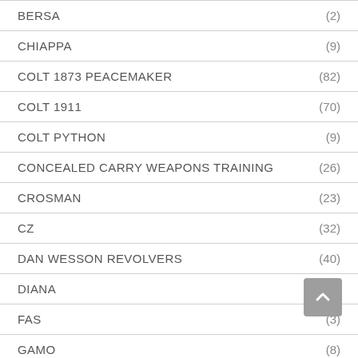BERSA (2)
CHIAPPA (9)
COLT 1873 PEACEMAKER (82)
COLT 1911 (70)
COLT PYTHON (9)
CONCEALED CARRY WEAPONS TRAINING (26)
CROSMAN (23)
CZ (32)
DAN WESSON REVOLVERS (40)
DIANA (8)
FAS (3)
GAMO (8)
GLETCHER RUSSIAN LEGENDS (27)